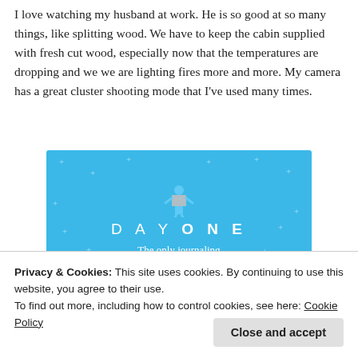I love watching my husband at work. He is so good at so many things, like splitting wood. We have to keep the cabin supplied with fresh cut wood, especially now that the temperatures are dropping and we we are lighting fires more and more. My camera has a great cluster shooting mode that I've used many times.
[Figure (screenshot): DAY ONE app advertisement on blue background with a small icon at top, tagline 'The only journaling app you'll ever need.']
Privacy & Cookies: This site uses cookies. By continuing to use this website, you agree to their use.
To find out more, including how to control cookies, see here: Cookie Policy
Close and accept